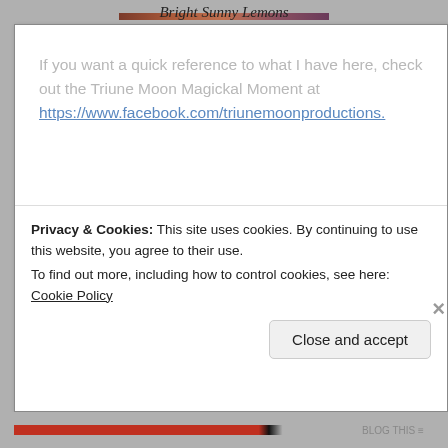[Figure (photo): Partial image strip at top of page showing colorful photo]
Bright Sunny Lemons
If you want a quick reference to what I have here, check out the Triune Moon Magickal Moment at https://www.facebook.com/triunemoonproductions.
Have fun creating and using lemons in your own spell work, charms and magick!
Blessed Be!
[Figure (screenshot): I agree button overlay]
Share this:
Privacy & Cookies: This site uses cookies. By continuing to use this website, you agree to their use. To find out more, including how to control cookies, see here: Cookie Policy
Close and accept